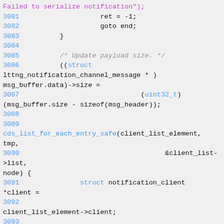[Figure (screenshot): Source code snippet in C showing lines 3081-3095 of a notification channel implementation. Syntax highlighted with line numbers in blue, string literals in pink/magenta, keywords and type names in blue, and comments in gray.]